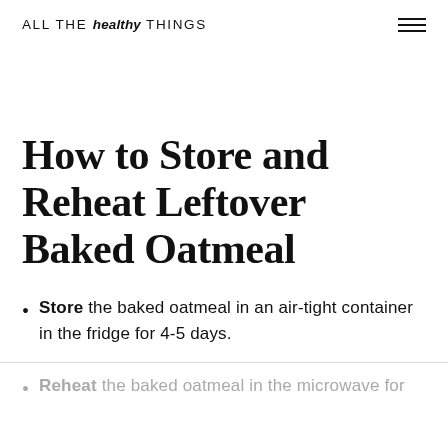ALL THE healthy THINGS
How to Store and Reheat Leftover Baked Oatmeal
Store the baked oatmeal in an air-tight container in the fridge for 4-5 days.
Reheat the baked oatmeal in the microwave for thirty seconds at a time, until heated through.